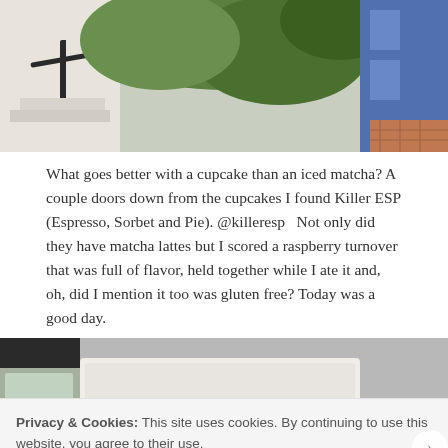[Figure (photo): Outdoor scene showing a staircase railing, green trees/ivy, and a blue building exterior with brick walkway]
What goes better with a cupcake than an iced matcha? A couple doors down from the cupcakes I found Killer ESP (Espresso, Sorbet and Pie). @killeresp   Not only did they have matcha lattes but I scored a raspberry turnover that was full of flavor, held together while I ate it and, oh, did I mention it too was gluten free? Today was a good day.
[Figure (photo): Close-up photo of a raspberry turnover pastry in white paper wrapping, with a drink visible in background]
Privacy & Cookies: This site uses cookies. By continuing to use this website, you agree to their use.
To find out more, including how to control cookies, see here: Cookie Policy
Close and accept